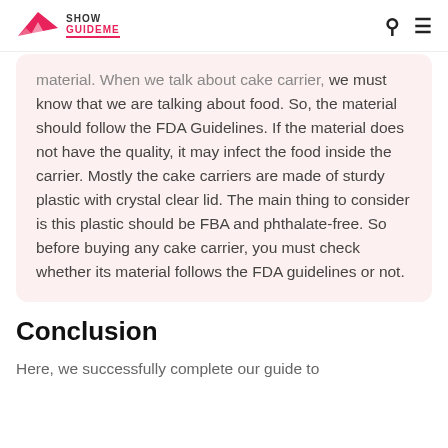Show GuideMe
material. When we talk about cake carrier, we must know that we are talking about food. So, the material should follow the FDA Guidelines. If the material does not have the quality, it may infect the food inside the carrier. Mostly the cake carriers are made of sturdy plastic with crystal clear lid. The main thing to consider is this plastic should be FBA and phthalate-free. So before buying any cake carrier, you must check whether its material follows the FDA guidelines or not.
Conclusion
Here, we successfully complete our guide to